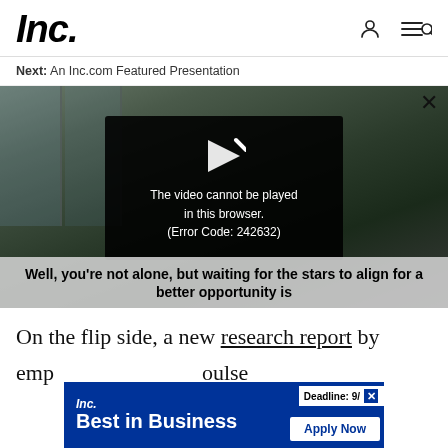Inc.
Next: An Inc.com Featured Presentation
[Figure (screenshot): Video player showing a building exterior with a black overlay error message: 'The video cannot be played in this browser. (Error Code: 242632)'. A play button arrow icon is shown above the error text. A close (X) button is in the top right. Below the video is a caption: 'Well, you're not alone, but waiting for the stars to align for a better opportunity is']
On the flip side, a new research report by
emp                                                                                               oulse
[Figure (screenshot): Inc. Best in Business advertisement banner with blue background. Shows 'Inc.' logo, 'Best in Business' text, a deadline notice '9/', a close X button, and an 'Apply Now' button.]